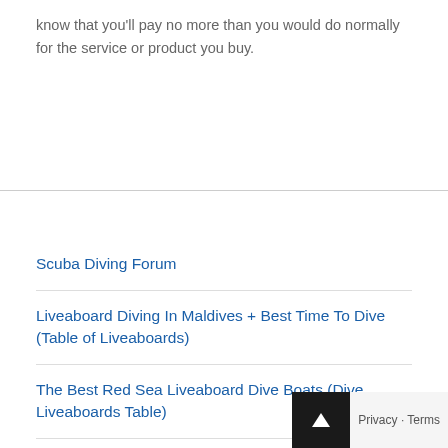know that you'll pay no more than you would do normally for the service or product you buy.
Scuba Diving Forum
Liveaboard Diving In Maldives + Best Time To Dive (Table of Liveaboards)
The Best Red Sea Liveaboard Dive Boats (Dive Liveaboards Table)
Contact